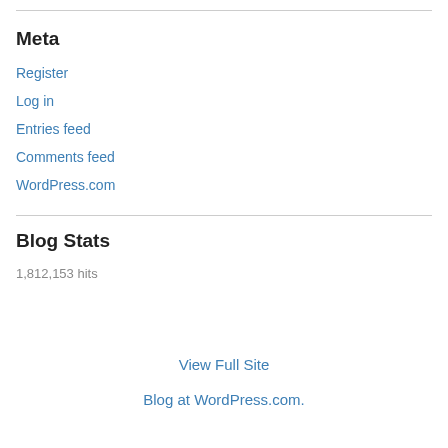Meta
Register
Log in
Entries feed
Comments feed
WordPress.com
Blog Stats
1,812,153 hits
View Full Site
Blog at WordPress.com.